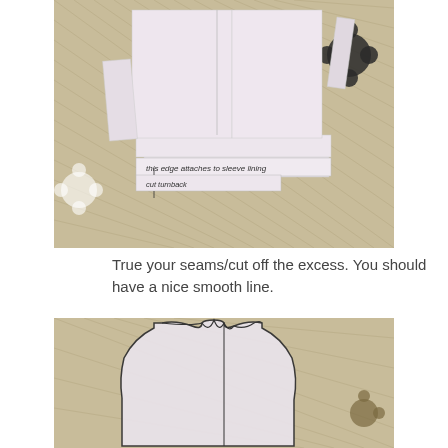[Figure (photo): Photo of sewing pattern pieces laid out on a floral patterned surface. Paper pattern pieces are stacked and annotated with handwritten notes reading 'this edge attaches to sleeve lining' and 'cut turnback'.]
True your seams/cut off the excess.  You should have a nice smooth line.
[Figure (photo): Photo of a paper sewing pattern piece shaped like a bodice/vest front, laid out on a floral patterned surface, showing a smooth curved neckline and shoulder seams.]